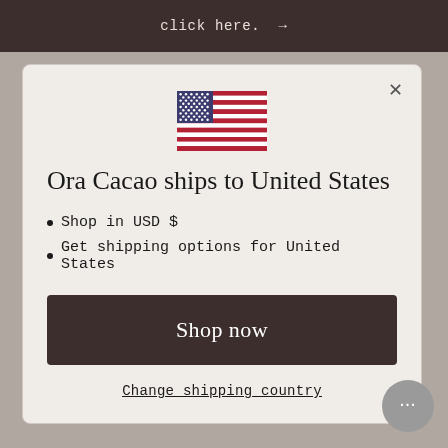click here. →
[Figure (illustration): US flag icon]
Ora Cacao ships to United States
Shop in USD $
Get shipping options for United States
Shop now
Change shipping country